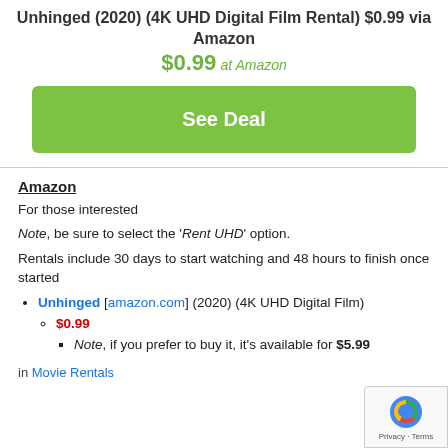Unhinged (2020) (4K UHD Digital Film Rental) $0.99 via Amazon
$0.99 at Amazon
[Figure (other): Green 'See Deal' button]
Amazon
For those interested
Note, be sure to select the 'Rent UHD' option.
Rentals include 30 days to start watching and 48 hours to finish once started
Unhinged [amazon.com] (2020) (4K UHD Digital Film)
$0.99
Note, if you prefer to buy it, it's available for $5.99
in Movie Rentals